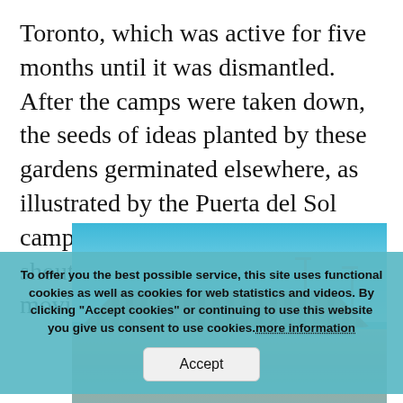Toronto, which was active for five months until it was dismantled. After the camps were taken down, the seeds of ideas planted by these gardens germinated elsewhere, as illustrated by the Puerta del Sol camp, which was dismantled to shouts of ‘We’re not leaving, we’re moving to your conscience’.
[Figure (photo): Outdoor photo showing a rooftop with terracotta tiles against a blue sky, street lamps visible, and colorful mural artwork at the bottom of the image.]
To offer you the best possible service, this site uses functional cookies as well as cookies for web statistics and videos. By clicking "Accept cookies" or continuing to use this website you give us consent to use cookies.more information
Accept